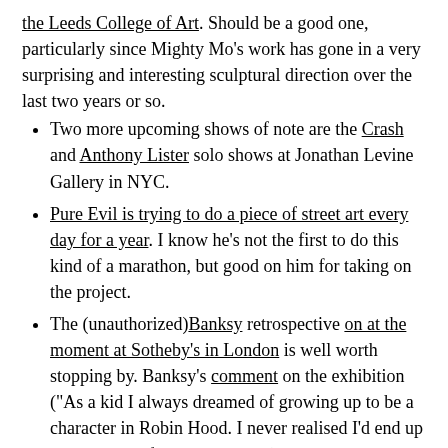the Leeds College of Art. Should be a good one, particularly since Mighty Mo's work has gone in a very surprising and interesting sculptural direction over the last two years or so.
Two more upcoming shows of note are the Crash and Anthony Lister solo shows at Jonathan Levine Gallery in NYC.
Pure Evil is trying to do a piece of street art every day for a year. I know he's not the first to do this kind of a marathon, but good on him for taking on the project.
The (unauthorized) Banksy retrospective on at the moment at Sotheby's in London is well worth stopping by. Banksy's comment on the exhibition ("As a kid I always dreamed of growing up to be a character in Robin Hood. I never realised I'd end up playing one of the gold coins.") sounds about right though. It's hard not to be taken aback by the prices at this exhibition, including almost £100,000 for a single print. And yes, that piece